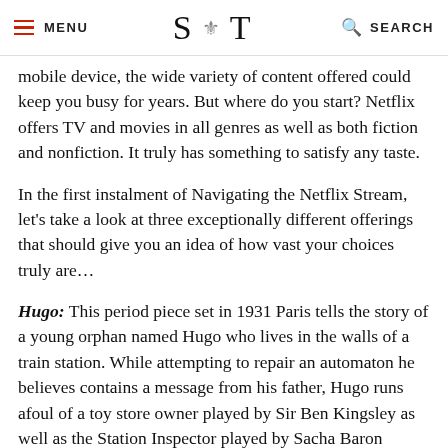MENU | S T | SEARCH
mobile device, the wide variety of content offered could keep you busy for years. But where do you start? Netflix offers TV and movies in all genres as well as both fiction and nonfiction. It truly has something to satisfy any taste.
In the first instalment of Navigating the Netflix Stream, let's take a look at three exceptionally different offerings that should give you an idea of how vast your choices truly are…
Hugo: This period piece set in 1931 Paris tells the story of a young orphan named Hugo who lives in the walls of a train station. While attempting to repair an automaton he believes contains a message from his father, Hugo runs afoul of a toy store owner played by Sir Ben Kingsley as well as the Station Inspector played by Sacha Baron Cohen.
This film is both beautiful and moving, offering one of the